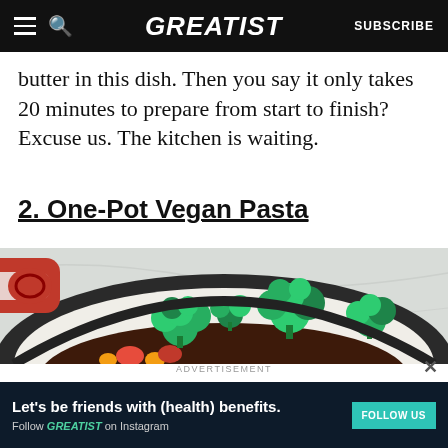GREATIST | SUBSCRIBE
butter in this dish. Then you say it only takes 20 minutes to prepare from start to finish? Excuse us. The kitchen is waiting.
2. One-Pot Vegan Pasta
[Figure (photo): A red enameled cast iron pot containing broccoli florets and colorful vegetables (tomatoes, peppers) in a dark sauce/broth, shot from above on a marble surface.]
× (close button)
ADVERTISEMENT
Let's be friends with (health) benefits. Follow GREATIST on Instagram FOLLOW US